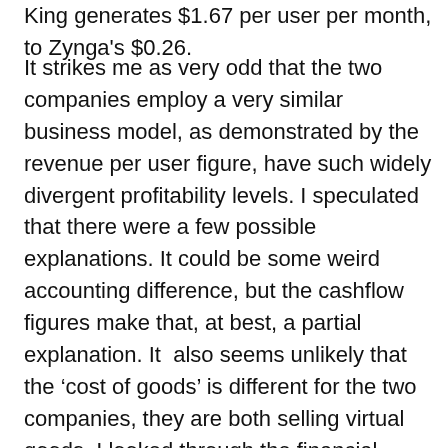King generates $1.67 per user per month, to Zynga's $0.26.
It strikes me as very odd that the two companies employ a very similar business model, as demonstrated by the revenue per user figure, have such widely divergent profitability levels. I speculated that there were a few possible explanations. It could be some weird accounting difference, but the cashflow figures make that, at best, a partial explanation. It also seems unlikely that the 'cost of goods' is different for the two companies, they are both selling virtual goods. I looked through the financial statements of both companies, and saw some interesting differences. Both companies have similar cost of revenue, about 30% for each. However, in 2013 Zynga spent 72% of revenue on R&D while King only spent 6%. So even though King had more than double the revenue of Zynga in 2013, they spent only $110 million R&D, while Zynga spent over $640 million. Now I suspect that there are